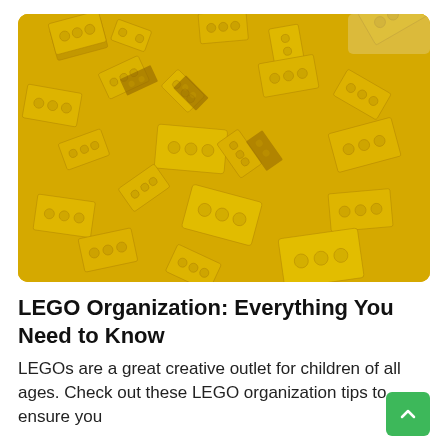[Figure (photo): A large pile of yellow LEGO bricks photographed close-up, filling the entire image frame. All bricks are the same bright yellow color with visible studs and side details.]
LEGO Organization: Everything You Need to Know
LEGOs are a great creative outlet for children of all ages. Check out these LEGO organization tips to ensure you